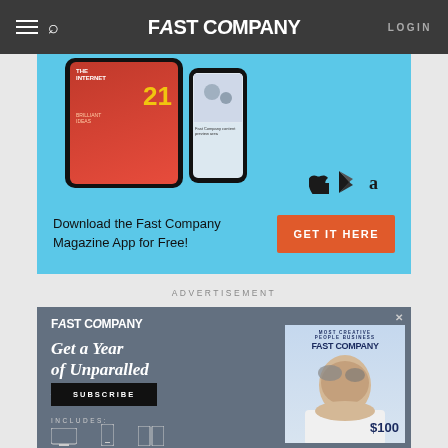FAST COMPANY | LOGIN
[Figure (screenshot): Fast Company magazine app advertisement banner with tablet and phone showing the magazine, app store icons, text 'Download the Fast Company Magazine App for Free!' and a red 'GET IT HERE' button on a light blue background]
ADVERTISEMENT
[Figure (screenshot): Fast Company subscription advertisement on grey-blue background showing logo, 'Get a Year of Unparalled Insight' headline, SUBSCRIBE button, 'INCLUDES:' text with device icons, and a magazine cover on the right side]